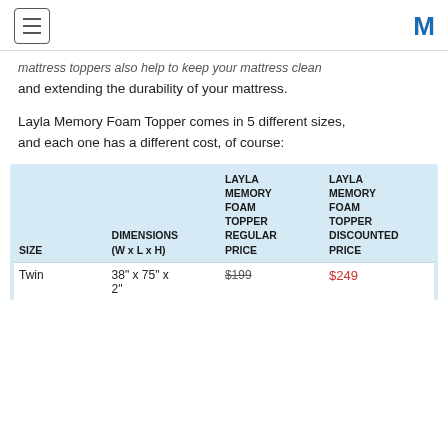[hamburger menu icon] [M logo]
mattress toppers also help to keep your mattress clean and extending the durability of your mattress.
Layla Memory Foam Topper comes in 5 different sizes, and each one has a different cost, of course:
| SIZE | DIMENSIONS (W x L x H) | LAYLA MEMORY FOAM TOPPER REGULAR PRICE | LAYLA MEMORY FOAM TOPPER DISCOUNTED PRICE |
| --- | --- | --- | --- |
| Twin | 38" x 75" x 2" | $199 | $249 |